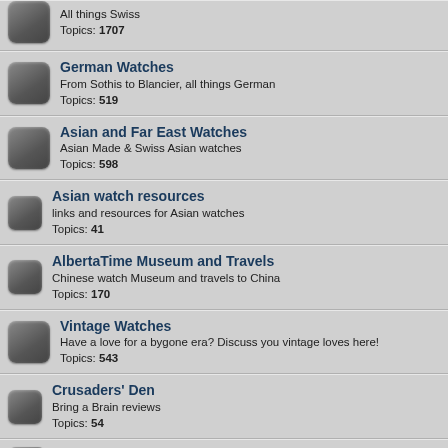All things Swiss
Topics: 1707
German Watches
From Sothis to Blancier, all things German
Topics: 519
Asian and Far East Watches
Asian Made & Swiss Asian watches
Topics: 598
Asian watch resources
links and resources for Asian watches
Topics: 41
AlbertaTime Museum and Travels
Chinese watch Museum and travels to China
Topics: 170
Vintage Watches
Have a love for a bygone era? Discuss you vintage loves here!
Topics: 543
Crusaders' Den
Bring a Brain reviews
Topics: 54
Dive Watches